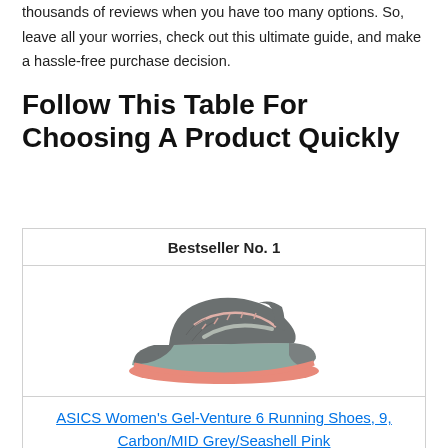thousands of reviews when you have too many options. So, leave all your worries, check out this ultimate guide, and make a hassle-free purchase decision.
Follow This Table For Choosing A Product Quickly
| Bestseller No. 1 |
| --- |
| [shoe image] |
| ASICS Women's Gel-Venture 6 Running Shoes, 9, Carbon/MID Grey/Seashell Pink |
ASICS Women's Gel-Venture 6 Running Shoes, 9, Carbon/MID Grey/Seashell Pink